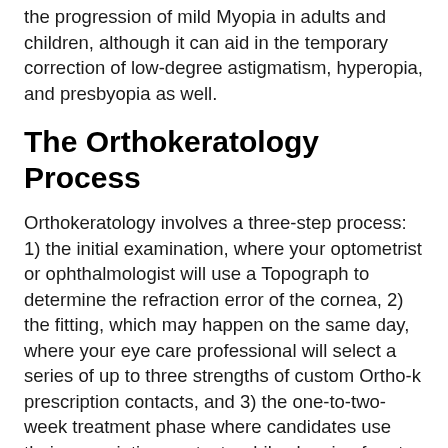the progression of mild Myopia in adults and children, although it can aid in the temporary correction of low-degree astigmatism, hyperopia, and presbyopia as well.
The Orthokeratology Process
Orthokeratology involves a three-step process: 1) the initial examination, where your optometrist or ophthalmologist will use a Topograph to determine the refraction error of the cornea, 2) the fitting, which may happen on the same day, where your eye care professional will select a series of up to three strengths of custom Ortho-k prescription contacts, and 3) the one-to-two-week treatment phase where candidates use their prescription contacts while sleeping for at least six to eight consecutive hours each night.
Candidates will wear disposable soft lenses or glasses throughout the day during the correction phase. On completion of the treatment, only the prescribed overnight contacts need to be worn. Occasionally, candidates